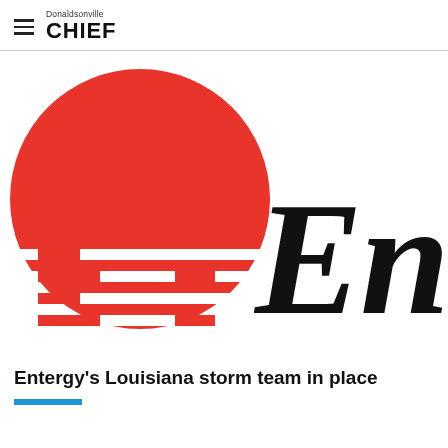Donaldsonville CHIEF
[Figure (logo): Entergy logo: red circular sunburst icon on the left with horizontal white stripe pattern in lower half, and large italic black text 'Entergy' on the right, partially cropped]
Entergy's Louisiana storm team in place